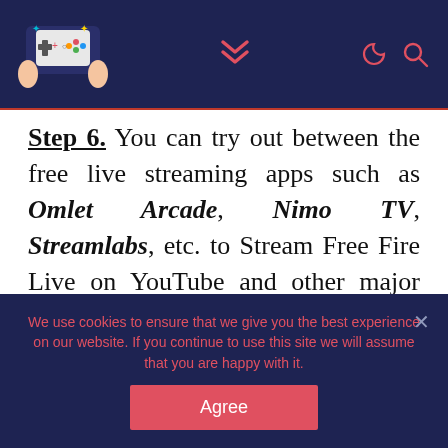Gaming website header with logo, navigation chevron, dark mode and search icons
Step 6. You can try out between the free live streaming apps such as Omlet Arcade, Nimo TV, Streamlabs, etc. to Stream Free Fire Live on YouTube and other major platforms. Try all these above-mentioned apps, but settle with the one which you are most comfortable
We use cookies to ensure that we give you the best experience on our website. If you continue to use this site we will assume that you are happy with it.